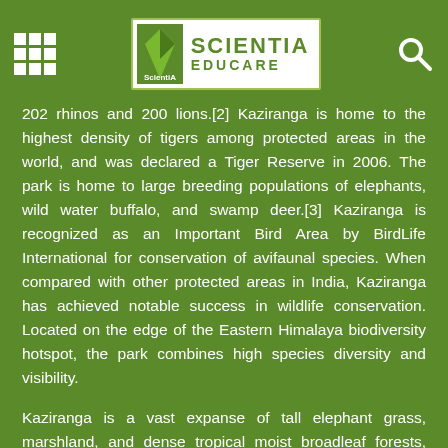Scientia Educare
202 rhinos and 200 lions.[2] Kaziranga is home to the highest density of tigers among protected areas in the world, and was declared a Tiger Reserve in 2006. The park is home to large breeding populations of elephants, wild water buffalo, and swamp deer.[3] Kaziranga is recognized as an Important Bird Area by BirdLife International for conservation of avifaunal species. When compared with other protected areas in India, Kaziranga has achieved notable success in wildlife conservation. Located on the edge of the Eastern Himalaya biodiversity hotspot, the park combines high species diversity and visibility.
Kaziranga is a vast expanse of tall elephant grass, marshland, and dense tropical moist broadleaf forests, criss-crossed by four major rivers, including the Brahmaputra, and the park includes numerous small bodies of water. Kaziranga has been the theme of several books, songs, and documentaries. The park celebrated its centennial in 2005 after its establishment in 1905 as a reserve forest.